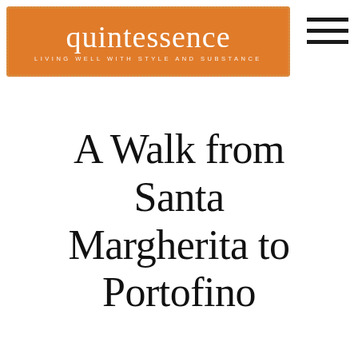[Figure (logo): Quintessence blog logo — orange rectangle with white serif text reading 'quintessence' and subtitle 'LIVING WELL WITH STYLE AND SUBSTANCE', with a dotted border inset]
[Figure (other): Hamburger menu icon — three horizontal black lines stacked vertically in the top-right corner]
A Walk from Santa Margherita to Portofino